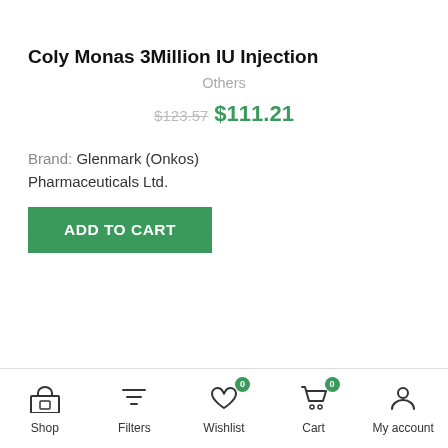Coly Monas 3Million IU Injection
Others
$123.57 $111.21
Brand: Glenmark (Onkos) Pharmaceuticals Ltd.
ADD TO CART
Shop  Filters  Wishlist 0  Cart 0  My account